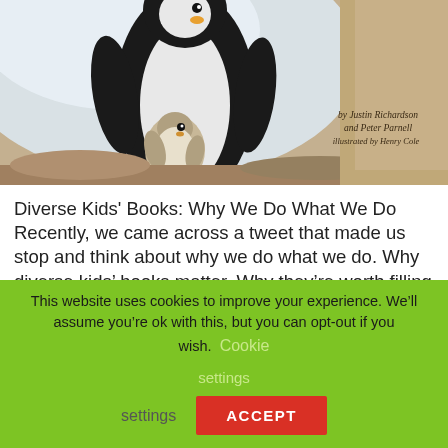[Figure (illustration): Book cover illustration showing a large adult penguin with a small baby penguin chick nestled beneath it, on a rocky background. Text on cover reads: 'by Justin Richardson and Peter Parnell illustrated by Henry Cole']
Diverse Kids' Books: Why We Do What We Do Recently, we came across a tweet that made us stop and think about why we do what we do. Why diverse kids' books matter. Why they're worth filling our bookshelves. And what diverse kids' books mean to their readers. Adam Podowitz-Thomas, a proud Queer Dad, shared…
This website uses cookies to improve your experience. We'll assume you're ok with this, but you can opt-out if you wish. Cookie settings ACCEPT